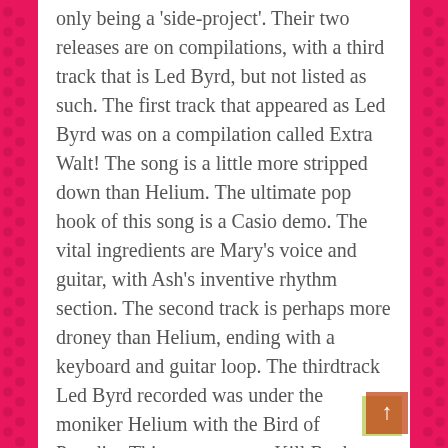only being a 'side-project'. Their two releases are on compilations, with a third track that is Led Byrd, but not listed as such. The first track that appeared as Led Byrd was on a compilation called Extra Walt! The song is a little more stripped down than Helium. The ultimate pop hook of this song is a Casio demo. The vital ingredients are Mary's voice and guitar, with Ash's inventive rhythm section. The second track is perhaps more droney than Helium, ending with a keyboard and guitar loop. The thirdtrack Led Byrd recorded was under the moniker Helium with the Bird of Paradise.This appears on a Kill Rock Stars compilation, and is a little more fuller in sound than the other two tracks. However, it also features prominent keyboards like the other tracks. Led Byrd hasn't released anything recently, but once Mary said in an interview that they are planning on releasing a CD sometime in